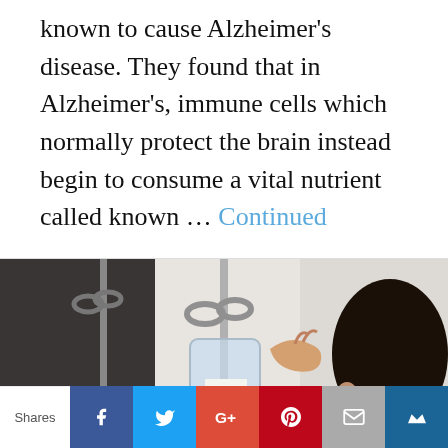known to cause Alzheimer's disease. They found that in Alzheimer's, immune cells which normally protect the brain instead begin to consume a vital nutrient called known ... Continued
[Figure (photo): A person (dark hair, visible from side profile) handling a sodium chloride IV bag hung on a medical drip stand.]
Shares | Facebook | Twitter | Google+ | Pinterest | Email | Crown/Bookmark